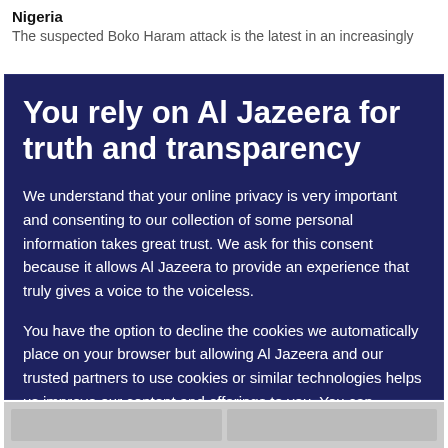Nigeria
The suspected Boko Haram attack is the latest in an increasingly
You rely on Al Jazeera for truth and transparency
We understand that your online privacy is very important and consenting to our collection of some personal information takes great trust. We ask for this consent because it allows Al Jazeera to provide an experience that truly gives a voice to the voiceless.
You have the option to decline the cookies we automatically place on your browser but allowing Al Jazeera and our trusted partners to use cookies or similar technologies helps us improve our content and offerings to you. You can change your privacy preferences at any time by selecting ‘Cookie preferences’ at the bottom of your screen. To learn more, please view our Cookie Policy.